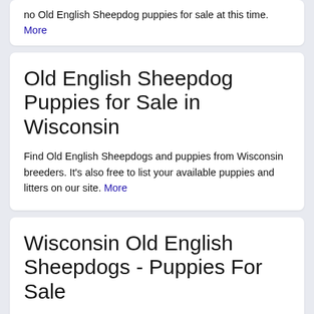no Old English Sheepdog puppies for sale at this time. More
Old English Sheepdog Puppies for Sale in Wisconsin
Find Old English Sheepdogs and puppies from Wisconsin breeders. It's also free to list your available puppies and litters on our site. More
Wisconsin Old English Sheepdogs - Puppies For Sale
Expecting Puppies Feb. 2021. My name is Victoria Mlyniec and I live with my family on a